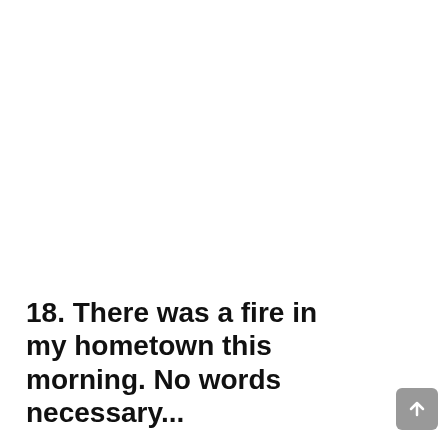18. There was a fire in my hometown this morning. No words necessary...